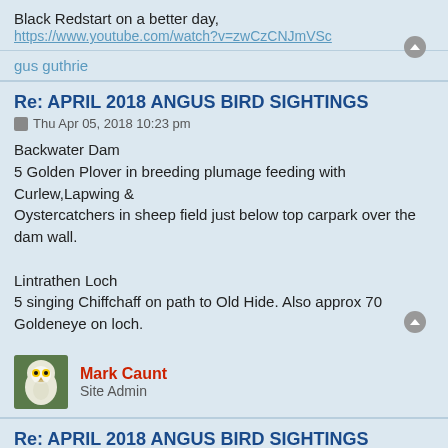Black Redstart on a better day,
https://www.youtube.com/watch?v=zwCzCNJmVSc
gus guthrie
Re: APRIL 2018 ANGUS BIRD SIGHTINGS
Thu Apr 05, 2018 10:23 pm
Backwater Dam
5 Golden Plover in breeding plumage feeding with Curlew,Lapwing & Oystercatchers in sheep field just below top carpark over the dam wall.

Lintrathen Loch
5 singing Chiffchaff on path to Old Hide. Also approx 70 Goldeneye on loch.
Mark Caunt
Site Admin
Re: APRIL 2018 ANGUS BIRD SIGHTINGS
Fri Apr 06, 2018 9:39 am